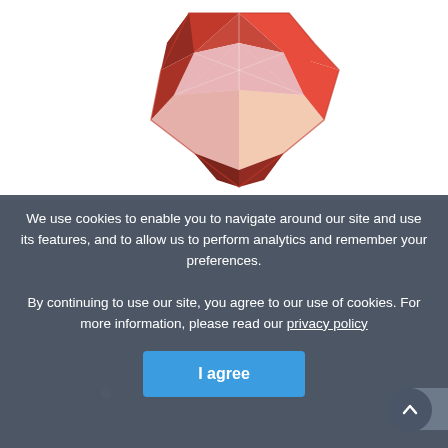[Figure (logo): Ruby gem / diamond shaped logo in red and pink tones, faceted gem illustration]
Nationwide
Ruby Lemon
We are recruiting caring and highly motivated workers.
View details
Takes 1-2 mins
We use cookies to enable you to navigate around our site and use its features, and to allow us to perform analytics and remember your preferences. By continuing to use our site, you agree to our use of cookies. For more information, please read our privacy policy
I agree
Get quote